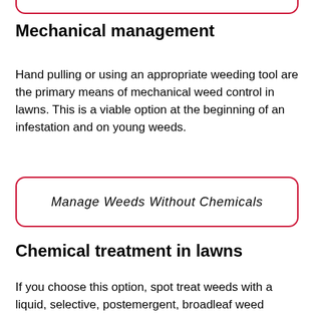Mechanical management
Hand pulling or using an appropriate weeding tool are the primary means of mechanical weed control in lawns. This is a viable option at the beginning of an infestation and on young weeds.
Manage Weeds Without Chemicals
Chemical treatment in lawns
If you choose this option, spot treat weeds with a liquid, selective, postemergent, broadleaf weed